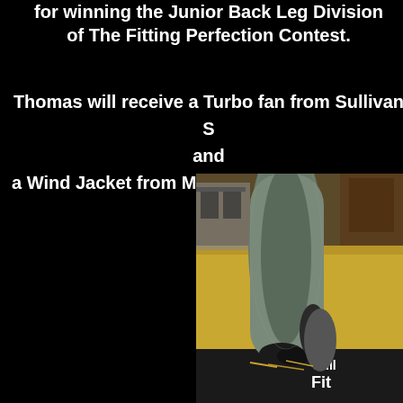for winning the Junior Back Leg Division of The Fitting Perfection Contest.
Thomas will receive a Turbo fan from Sullivan S and a Wind Jacket from MeMe's Custom Embroide
[Figure (photo): Close-up photo of a show cattle back leg that has been clipped and fitted, standing on a dark mat with hay on the ground. Barn pens and yellow straw visible in background. Sullivan Fitting contest mat visible at bottom right.]